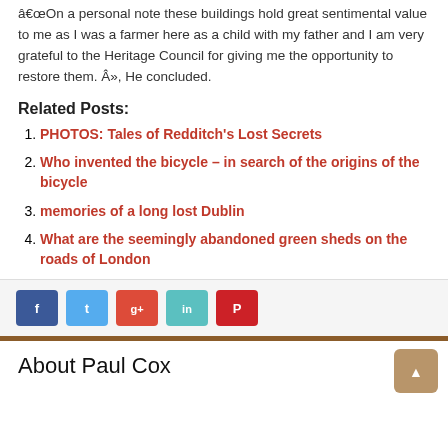â€œOn a personal note these buildings hold great sentimental value to me as I was a farmer here as a child with my father and I am very grateful to the Heritage Council for giving me the opportunity to restore them. Â», He concluded.
Related Posts:
PHOTOS: Tales of Redditch's Lost Secrets
Who invented the bicycle – in search of the origins of the bicycle
memories of a long lost Dublin
What are the seemingly abandoned green sheds on the roads of London
[Figure (infographic): Row of five social media share buttons: Facebook (dark blue), Twitter (light blue), Google+ (red-orange), LinkedIn (teal), Pinterest (red)]
About Paul Cox